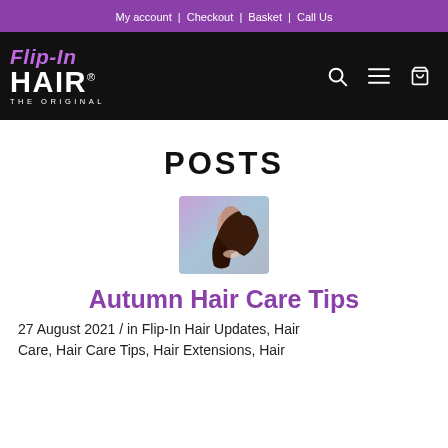My account | Checkout | Basket | Call Us
[Figure (logo): Flip-In Hair The Original logo in white and purple on black background with search, menu, and basket icons]
POSTS
[Figure (photo): Woman with long flowing dark hair against a purple/blue background]
Autumn Hair Care Tips
27 August 2021 / in Flip-In Hair Updates, Hair Care, Hair Care Tips, Hair Extensions, Hair
Care, Hair Care Tips, Hair Extensions, Hair